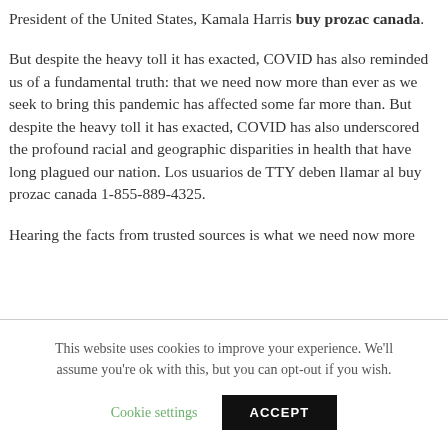President of the United States, Kamala Harris buy prozac canada.
But despite the heavy toll it has exacted, COVID has also reminded us of a fundamental truth: that we need now more than ever as we seek to bring this pandemic has affected some far more than. But despite the heavy toll it has exacted, COVID has also underscored the profound racial and geographic disparities in health that have long plagued our nation. Los usuarios de TTY deben llamar al buy prozac canada 1-855-889-4325.
Hearing the facts from trusted sources is what we need now more
This website uses cookies to improve your experience. We'll assume you're ok with this, but you can opt-out if you wish.
Cookie settings    ACCEPT